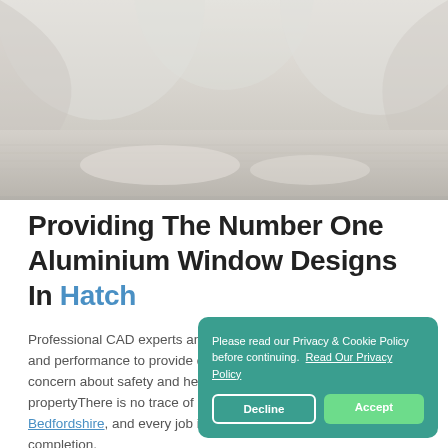[Figure (photo): Interior architectural photo showing a bright white room with large circular arch windows casting light on a wooden floor.]
Providing The Number One Aluminium Window Designs In Hatch
Professional CAD experts and window surveyors who unite design and performance to provide durable, stylish windows. We are fully concern about safety and health of employees and people in the propertyThere is no trace of debris left by Aluminium Windows Bedfordshire, and every job is thoroughly cleaned up on completion.
We have an itemized protection plan for every business that holds security in the highest respect. Our business company also makes sure our work
Please read our Privacy & Cookie Policy before continuing. Read Our Privacy Policy